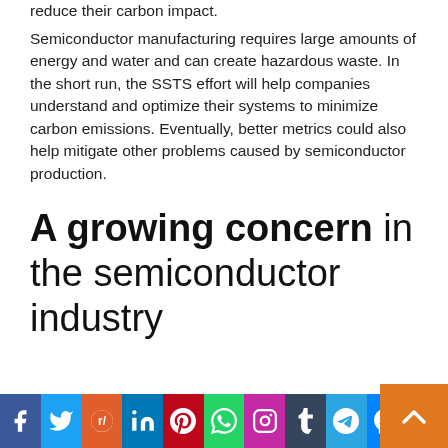reduce their carbon impact.
Semiconductor manufacturing requires large amounts of energy and water and can create hazardous waste. In the short run, the SSTS effort will help companies understand and optimize their systems to minimize carbon emissions. Eventually, better metrics could also help mitigate other problems caused by semiconductor production.
A growing concern in the semiconductor industry
Researchers have shown that nearly 75% of a
[Figure (infographic): Social media sharing bar with icons: Facebook, Twitter, Reddit, LinkedIn, Pinterest, WhatsApp, Instagram, Tumblr, Telegram, Messenger, Share. Also includes an orange scroll-to-top button.]